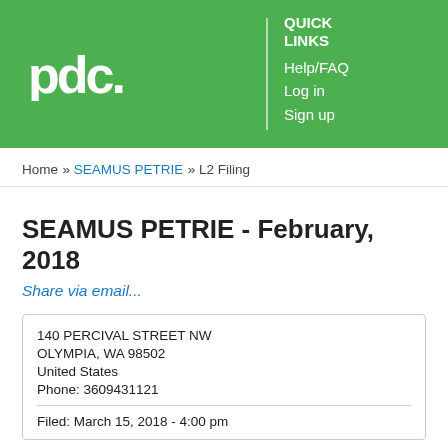pdc | QUICK LINKS Help/FAQ Log in Sign up
Home » SEAMUS PETRIE » L2 Filing
SEAMUS PETRIE - February, 2018
Share via email...
140 PERCIVAL STREET NW
OLYMPIA, WA 98502
United States
Phone: 3609431121
Filed: March 15, 2018 - 4:00 pm
Personal Expenses
Personal expenses reimbursed by employer.